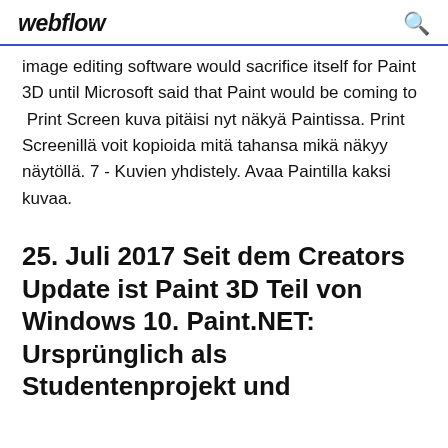webflow
image editing software would sacrifice itself for Paint 3D until Microsoft said that Paint would be coming to  Print Screen kuva pitäisi nyt näkyä Paintissa. Print Screenillä voit kopioida mitä tahansa mikä näkyy näytöllä. 7 - Kuvien yhdistely. Avaa Paintilla kaksi kuvaa.
25. Juli 2017 Seit dem Creators Update ist Paint 3D Teil von Windows 10. Paint.NET: Ursprünglich als Studentenprojekt und